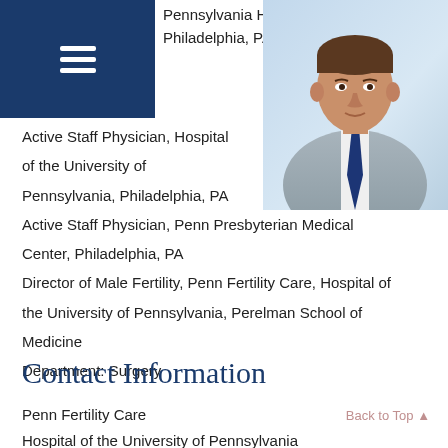Pennsylvania Hospital, Philadelphia, PA
[Figure (photo): Professional headshot of a man in a grey suit with a navy blue tie, light background]
Active Staff Physician, Hospital of the University of Pennsylvania, Philadelphia, PA
Active Staff Physician, Penn Presbyterian Medical Center, Philadelphia, PA
Director of Male Fertility, Penn Fertility Care, Hospital of the University of Pennsylvania, Perelman School of Medicine
Department: Surgery
Contact Information
Penn Fertility Care
Hospital of the University of Pennsylvania